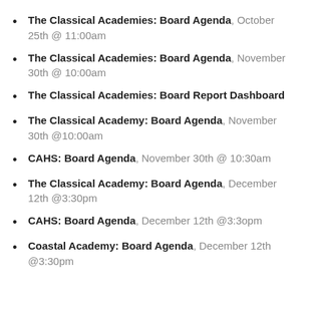The Classical Academies: Board Agenda, October 25th @ 11:00am
The Classical Academies: Board Agenda, November 30th @ 10:00am
The Classical Academies: Board Report Dashboard
The Classical Academy: Board Agenda, November 30th @10:00am
CAHS: Board Agenda, November 30th @ 10:30am
The Classical Academy: Board Agenda, December 12th @3:30pm
CAHS: Board Agenda, December 12th @3:30pm
Coastal Academy: Board Agenda, December 12th @3:30pm